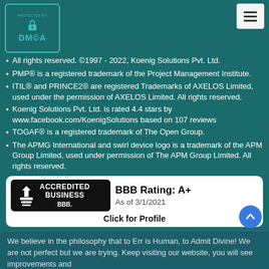[Figure (logo): DMCA Protected By badge with lock icon in teal]
[Figure (other): Hamburger menu icon (three horizontal bars)]
All rights reserved. ©1997 - 2022, Koenig Solutions Pvt. Ltd.
PMP® is a registered trademark of the Project Management Institute.
ITIL® and PRINCE2® are registered Trademarks of AXELOS Limited, used under the permission of AXELOS Limited. All rights reserved.
Koenig Solutions Pvt. Ltd. is rated 4.4 stars by www.facebook.com/KoenigSolutions based on 107 reviews
TOGAF® is a registered trademark of The Open Group.
The APMG International and swirl device logo is a trademark of the APM Group Limited, used under permission of The APM Group Limited. All rights reserved.
[Figure (logo): BBB Accredited Business badge with BBB Rating A+ as of 3/1/2021 and Click for Profile]
We believe in the philosophy that to Err is Human, to Admit Divine! We are not perfect but we are trying. Keep visiting our website, you will see improvements and